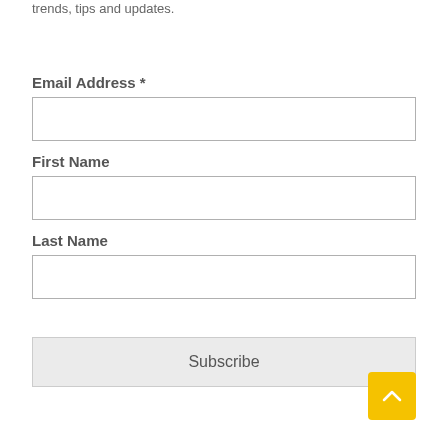trends, tips and updates.
Email Address *
First Name
Last Name
Subscribe
[Figure (other): Back to top button: yellow/gold rounded square with an upward-pointing chevron arrow]